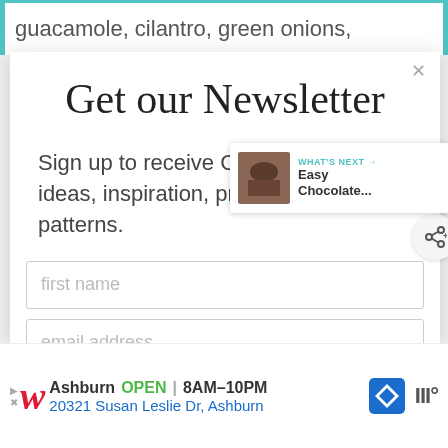guacamole, cilantro, green onions,
Get our Newsletter
Sign up to receive CRAFT project ideas, inspiration, printables, & craft patterns.
first name
email address
SUBSCRIBE
WHAT'S NEXT → Easy Chocolate...
Ashburn OPEN 8AM–10PM 20321 Susan Leslie Dr, Ashburn